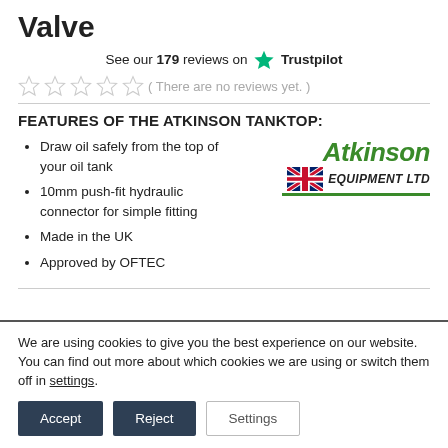Valve
See our 179 reviews on Trustpilot
( There are no reviews yet. )
FEATURES OF THE ATKINSON TANKTOP:
Draw oil safely from the top of your oil tank
10mm push-fit hydraulic connector for simple fitting
Made in the UK
Approved by OFTEC
[Figure (logo): Atkinson Equipment Ltd logo with green italic text and UK flag icon]
We are using cookies to give you the best experience on our website.
You can find out more about which cookies we are using or switch them off in settings.